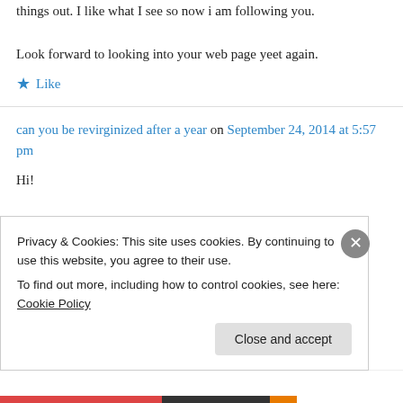things out. I like what I see so now i am following you.
Look forward to looking into your web page yeet again.
★ Like
can you be revirginized after a year on September 24, 2014 at 5:57 pm
Hi!
Privacy & Cookies: This site uses cookies. By continuing to use this website, you agree to their use.
To find out more, including how to control cookies, see here: Cookie Policy
Close and accept